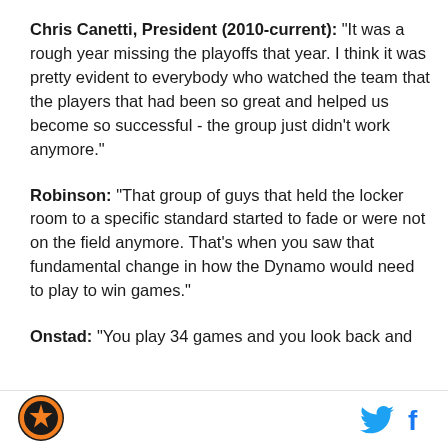Chris Canetti, President (2010-current): "It was a rough year missing the playoffs that year. I think it was pretty evident to everybody who watched the team that the players that had been so great and helped us become so successful - the group just didn't work anymore."
Robinson: "That group of guys that held the locker room to a specific standard started to fade or were not on the field anymore. That's when you saw that fundamental change in how the Dynamo would need to play to win games."
Onstad: "You play 34 games and you look back and
[Figure (logo): Houston Dynamo circular logo with orange and black star design]